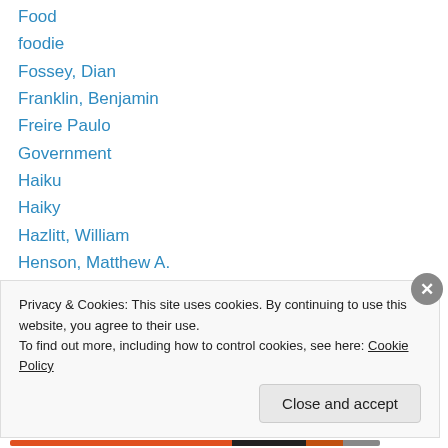Food
foodie
Fossey, Dian
Franklin, Benjamin
Freire Paulo
Government
Haiku
Haiky
Hazlitt, William
Henson, Matthew A.
Herodotus
Heroism and Memorial Day go hand-in-hand
hiking
Privacy & Cookies: This site uses cookies. By continuing to use this website, you agree to their use.
To find out more, including how to control cookies, see here: Cookie Policy
Close and accept